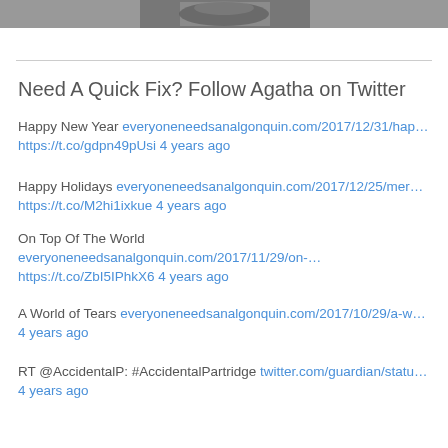[Figure (photo): Black and white photo strip at top of page]
Need A Quick Fix? Follow Agatha on Twitter
Happy New Year everyoneneedsanalgonquin.com/2017/12/31/hap… https://t.co/gdpn49pUsi 4 years ago
Happy Holidays everyoneneedsanalgonquin.com/2017/12/25/mer… https://t.co/M2hi1ixkue 4 years ago
On Top Of The World everyoneneedsanalgonquin.com/2017/11/29/on-… https://t.co/ZbI5IPhkX6 4 years ago
A World of Tears everyoneneedsanalgonquin.com/2017/10/29/a-w… 4 years ago
RT @AccidentalP: #AccidentalPartridge twitter.com/guardian/statu… 4 years ago